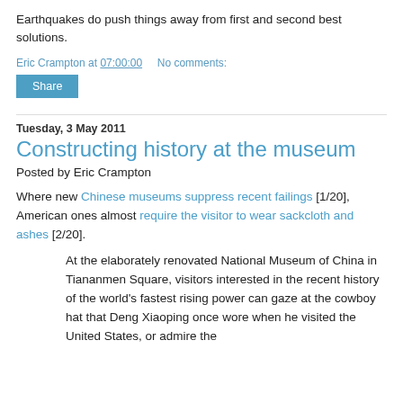Earthquakes do push things away from first and second best solutions.
Eric Crampton at 07:00:00   No comments:
Share
Tuesday, 3 May 2011
Constructing history at the museum
Posted by Eric Crampton
Where new Chinese museums suppress recent failings [1/20], American ones almost require the visitor to wear sackcloth and ashes [2/20].
At the elaborately renovated National Museum of China in Tiananmen Square, visitors interested in the recent history of the world's fastest rising power can gaze at the cowboy hat that Deng Xiaoping once wore when he visited the United States, or admire the